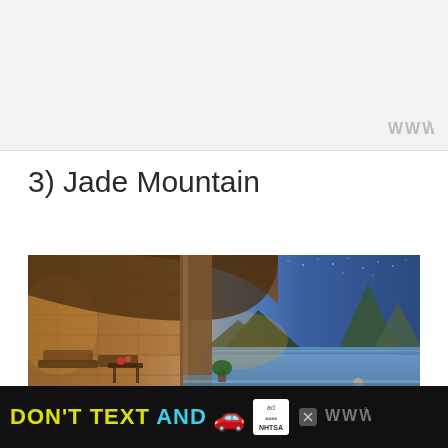[Figure (photo): Light gray placeholder area representing a previously loaded image above]
[Figure (other): Watermark logo 'WWW°' in gray at top right]
3) Jade Mountain
[Figure (photo): Luxury resort photo showing an open-air suite with infinity pool overlooking the Piton mountains in Saint Lucia at dusk, warm interior lighting on left, dramatic sky with mountains and ocean on right]
[Figure (other): Advertisement banner: DON'T TEXT AND [car emoji] with NHTSA ad logo, close button, and WWW° watermark on black background]